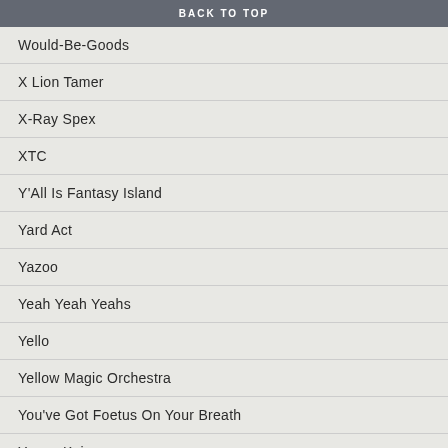BACK TO TOP
Would-Be-Goods
X Lion Tamer
X-Ray Spex
XTC
Y'All Is Fantasy Island
Yard Act
Yazoo
Yeah Yeah Yeahs
Yello
Yellow Magic Orchestra
You've Got Foetus On Your Breath
Young Knives
Young Marble Giants